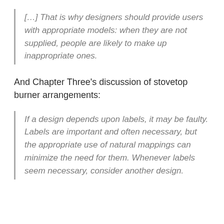[…] That is why designers should provide users with appropriate models: when they are not supplied, people are likely to make up inappropriate ones.
And Chapter Three's discussion of stovetop burner arrangements:
If a design depends upon labels, it may be faulty. Labels are important and often necessary, but the appropriate use of natural mappings can minimize the need for them. Whenever labels seem necessary, consider another design.